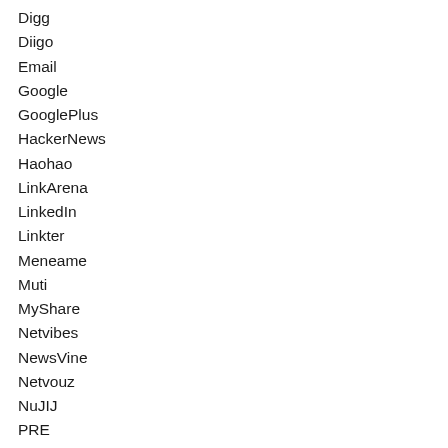Digg
Diigo
Email
Google
GooglePlus
HackerNews
Haohao
LinkArena
LinkedIn
Linkter
Meneame
Muti
MyShare
Netvibes
NewsVine
Netvouz
NuJIJ
PRE